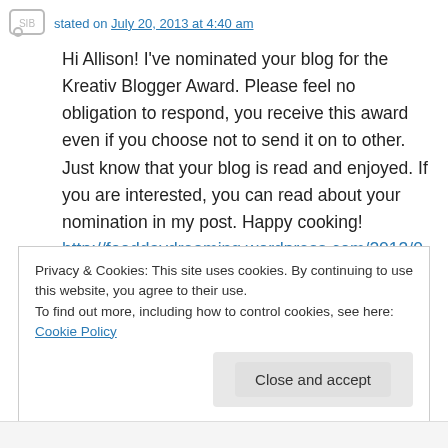stated on July 20, 2013 at 4:40 am
Hi Allison! I've nominated your blog for the Kreativ Blogger Award. Please feel no obligation to respond, you receive this award even if you choose not to send it on to other. Just know that your blog is read and enjoyed. If you are interested, you can read about your nomination in my post. Happy cooking! http://fooddaydreaming.wordpress.com/2013/07/20/blog-awards-kreativ-blogger-award/
Privacy & Cookies: This site uses cookies. By continuing to use this website, you agree to their use.
To find out more, including how to control cookies, see here: Cookie Policy
Close and accept